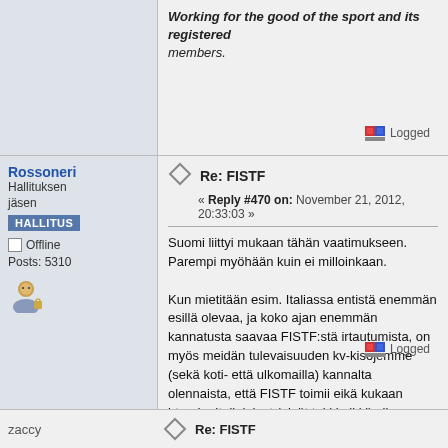Working for the good of the sport and its registered members.
Logged
Rossoneri
Hallituksen jäsen
HALLITUS
Offline
Posts: 5310
Re: FISTF
« Reply #470 on: November 21, 2012, 20:33:03 »
Suomi liittyi mukaan tähän vaatimukseen. Parempi myöhään kuin ei milloinkaan.

Kun mietitään esim. Italiassa entistä enemmän esillä olevaa, ja koko ajan enemmän kannatusta saavaa FISTF:stä irtautumista, on myös meidän tulevaisuuden kv-kisojemme (sekä koti- että ulkomailla) kannalta olennaista, että FISTF toimii eikä kukaan irtaudu. Italialaiset (eivät toki kaikki) siis haikailevat Välimeren liittoa tai vastaavasti kokonaan uutta liittoa, jossa esim. Saksan ja Suomen kaltaiset pienet tekijät eivät saisi sananvaltaa juurikaan. Mentäisiin myös ammattimaisemman toiminnan ehdoilla, joka veisi käytännössä Suomesta pois omat kisat.
Logged
zaccy
Re: FISTF